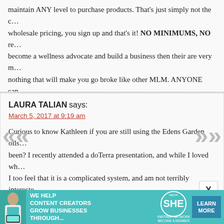maintain ANY level to purchase products. That's just simply not the case. For wholesale pricing, you sign up and that's it! NO MINIMUMS, NO re... become a wellness advocate and build a business then their are very n... nothing that will make you go broke like other MLM. ANYONE can... success. That's why Doterra enjoys the highest retention of ANY ML... over 70% So, thank you for you article, but….I'll stick with Doterra...
REPLY
LAURA TALIAN says:
March 5, 2017 at 9:19 am
Curious to know Kathleen if you are still using the Edens Garden oils... been? I recently attended a doTerra presentation, and while I loved wh... I too feel that it is a complicated system, and am not terribly intereste... previously involved in something else.
REPLY
[Figure (infographic): SHE Media advertisement banner: 'We help content creators grow businesses through... SHE Partner Network - Become a Member - Learn More']